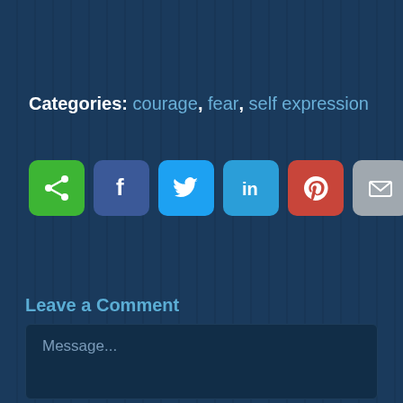Categories: courage, fear, self expression
[Figure (infographic): Row of six social sharing icon buttons: share (green), Facebook (dark blue), Twitter (light blue), LinkedIn (medium blue), Pinterest (red), Email (gray)]
Leave a Comment
Message...